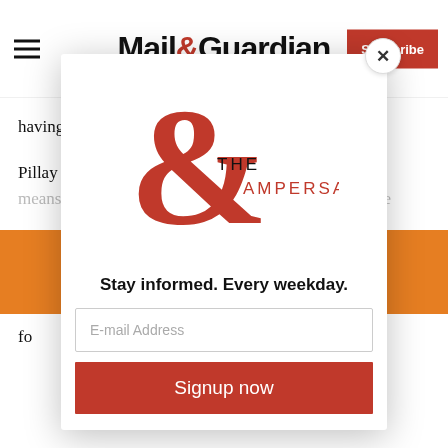Mail&Guardian | Subscribe
having participated.
Pillay also found that the DA could have found other means of addressing the case of the muted microphone w...
T... fo...
[Figure (logo): The Ampersand newsletter logo — large red ampersand with 'THE AMPERSAND' text]
Stay informed. Every weekday.
E-mail Address
Signup now